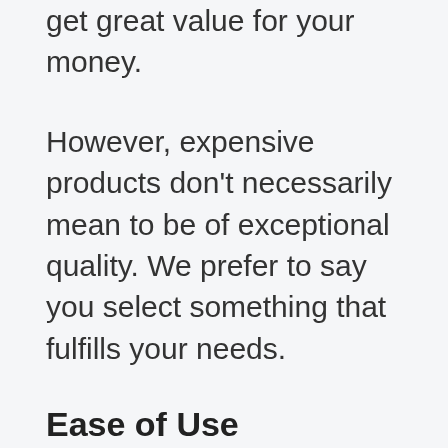get great value for your money.
However, expensive products don't necessarily mean to be of exceptional quality. We prefer to say you select something that fulfills your needs.
Ease of Use
People feel more comfortable using products that come with a straightforward process of use.
So, you should always look for the ones that come with an easy to use